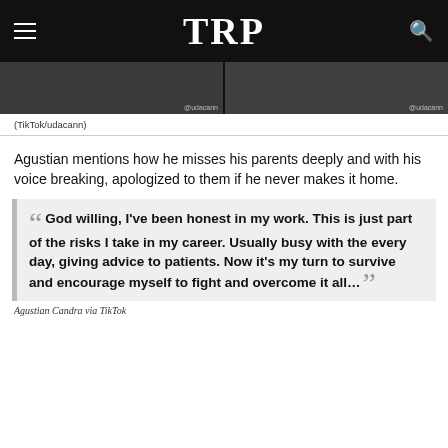TRP
[Figure (photo): Two dark screenshot panels from TikTok video, partially visible at top of page]
(TikTok/udacann)
Agustian mentions how he misses his parents deeply and with his voice breaking, apologized to them if he never makes it home.
God willing, I've been honest in my work. This is just part of the risks I take in my career. Usually busy with the every day, giving advice to patients. Now it's my turn to survive and encourage myself to fight and overcome it all…
Agustian Candra via TikTok